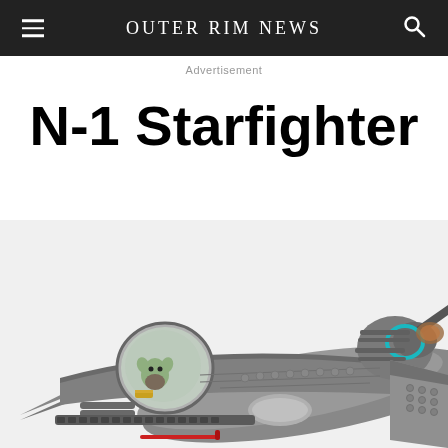Outer Rim News
Advertisement
N-1 Starfighter
[Figure (photo): Close-up photo of LEGO N-1 Starfighter model set, showing detailed grey spacecraft with cockpit dome, engine, and various mechanical parts including a small Grogu figure inside the cockpit. The model features dark grey, silver, yellow, teal, and red accents.]